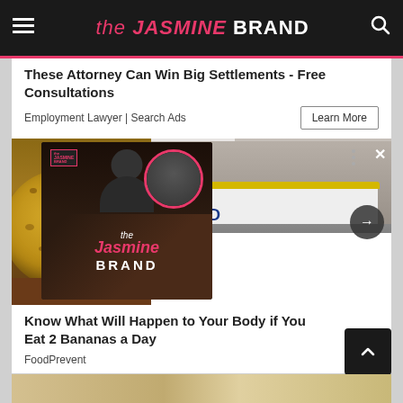the JASMINE BRAND
These Attorney Can Win Big Settlements - Free Consultations
Employment Lawyer | Search Ads
[Figure (screenshot): The Jasmine Brand video player overlay showing logo with circular person photo, played over a background image with a woman in a FENDI shirt]
Know What Will Happen to Your Body if You Eat 2 Bananas a Day
FoodPrevent
[Figure (photo): Partial view of a person at the bottom of the page]